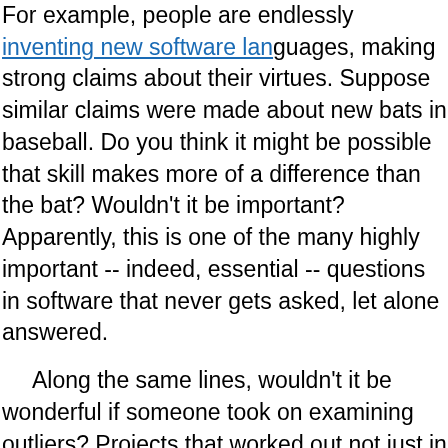For example, people are endlessly inventing new software languages, making strong claims about their virtues. Suppose similar claims were made about new bats in baseball. Do you think it might be possible that skill makes more of a difference than the bat? Wouldn't it be important? Apparently, this is one of the many highly important -- indeed, essential -- questions in software that never gets asked, let alone answered.
Along the same lines, wouldn't it be wonderful if someone took on examining outliers? Projects that worked out not just in the typical way, but failed spectacularly? On the other end of the spectrum, would the fast jobs be interesting? This would be done on start-from-scratch and equally important on making changes to existing software.
A whole slew of PhD's should be given out for pioneering work in finding and refining the exact methods that make progress towards these goals. Note that minor changes to the methods used to meet the earlier goals may make a huge difference in meeting later goals such as seamless... the results of analytics.